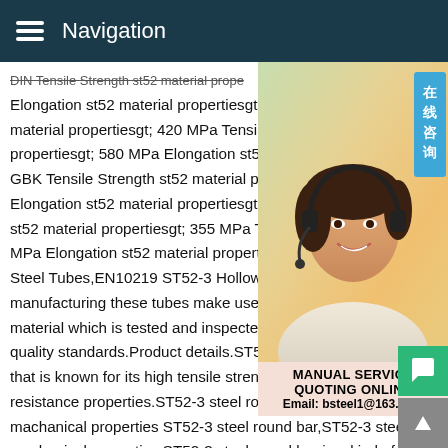Navigation
Elongation st52 material propertiesgt; 7 % material propertiesgt; 420 MPa Tensile Str propertiesgt; 580 MPa Elongation st52 ma GBK Tensile Strength st52 material prope Elongation st52 material propertiesgt; 22 9 st52 material propertiesgt; 355 MPa Tensi MPa Elongation st52 material propertiesgt Steel Tubes,EN10219 ST52-3 Hollow Sec manufacturing these tubes make use of to material which is tested and inspected as quality standards.Product details.ST52-3 is a low alloy steel that is known for its high tensile strength and corrosion resistance properties.ST52-3 steel round bar,ST52-3 steel machanical properties ST52-3 steel round bar,ST52-3 steel machanical properties.ST52-3 steel round bar is a kind of low alloy steel bar and ST52-3 steel round bar is widely used in manufacture
[Figure (photo): Customer service representative woman with headset, smiling, with Chinese text overlay reading 在线咨询 (Online Consultation)]
MANUAL SERVICE
QUOTING ONLINE
Email: bsteel1@163.com